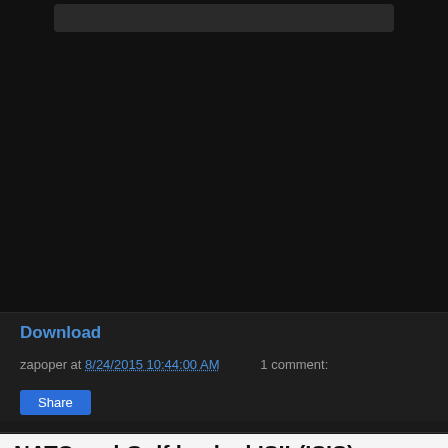[Figure (screenshot): Dark-themed web page video/media player area with gray rounded button bar at top and black video area below]
Download
zapoper at 8/24/2015 10:44:00 AM   1 comment:
Share
NATO and Gulf backed ISIL(ISIS) reportedly attacked Syria's Mare' with